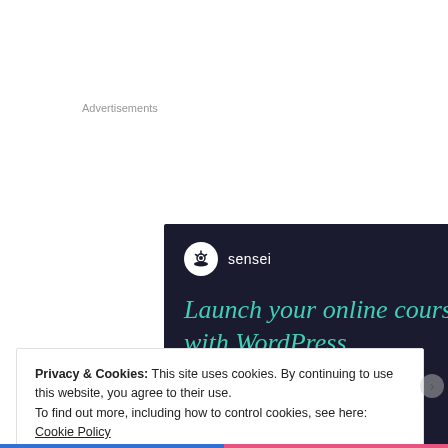Advertisements
[Figure (illustration): Sensei advertisement banner with dark navy background. Shows Sensei logo (tree icon in white circle) and brand name 'sensei' in white. Large teal italic text reads 'Launch your online course with WordPress'. Teal rounded button visible at bottom.]
Privacy & Cookies: This site uses cookies. By continuing to use this website, you agree to their use.
To find out more, including how to control cookies, see here: Cookie Policy
Close and accept